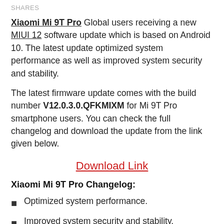SHARES
Xiaomi Mi 9T Pro Global users receiving a new MIUI 12 software update which is based on Android 10. The latest update optimized system performance as well as improved system security and stability.
The latest firmware update comes with the build number V12.0.3.0.QFKMIXM for Mi 9T Pro smartphone users. You can check the full changelog and download the update from the link given below.
Download Link
Xiaomi Mi 9T Pro Changelog:
Optimized system performance.
Improved system security and stability.
Join Our RealMi Central Channel On Telegram